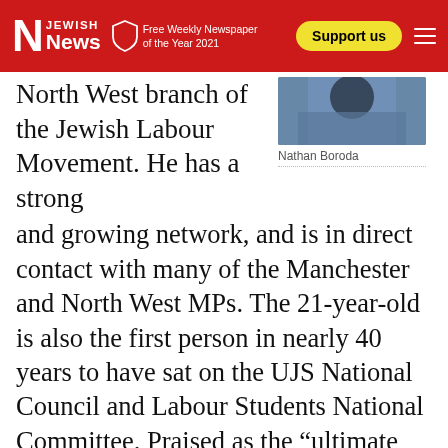Jewish News – Free Weekly Newspaper of the Year 2021
[Figure (photo): Photo of Nathan Boroda, partially visible at top right, wearing blue denim]
Nathan Boroda
North West branch of the Jewish Labour Movement. He has a strong and growing network, and is in direct contact with many of the Manchester and North West MPs. The 21-year-old is also the first person in nearly 40 years to have sat on the UJS National Council and Labour Students National Committee. Praised as the “ultimate Jewish student leader”, Nathan will undoubtedly be a key figure in Manchester’s political and Jewish community in years to come.
READ MORE – Twenty Five Under 25: The